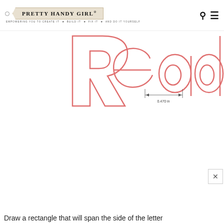PRETTY HANDY GIRL® — EMPOWERING YOU TO CREATE IT • BUILD IT • FIX IT • AND DO IT YOURSELF
[Figure (engineering-diagram): Partial screenshot of a software drawing canvas showing large outlined letters (appears to be 'Read' or similar word) in salmon/pink color with dimension annotations. A measurement indicator shows '0.470 in' spanning a portion of the letters. The letters appear as unfilled outlines against a white background with small tick marks and dimension lines.]
Draw a rectangle that will span the side of the letter